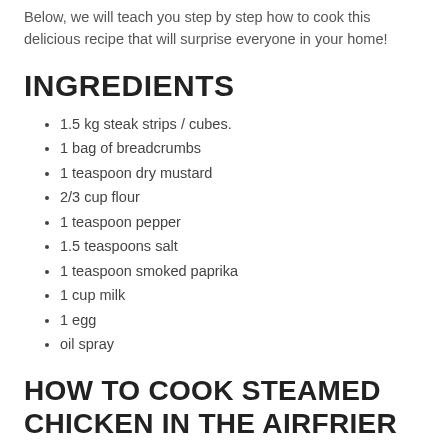Below, we will teach you step by step how to cook this delicious recipe that will surprise everyone in your home!
INGREDIENTS
1.5 kg steak strips / cubes.
1 bag of breadcrumbs
1 teaspoon dry mustard
2/3 cup flour
1 teaspoon pepper
1.5 teaspoons salt
1 teaspoon smoked paprika
1 cup milk
1 egg
oil spray
HOW TO COOK STEAMED CHICKEN IN THE AIRFRIER